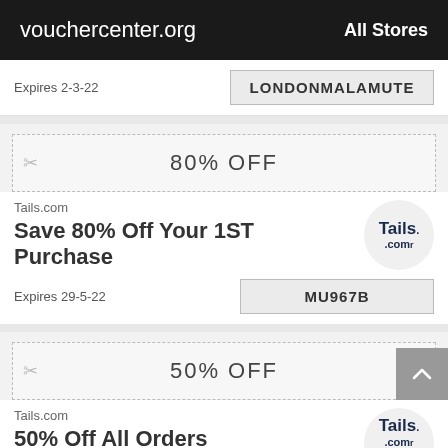vouchercenter.org    All Stores
Expires 2-3-22
LONDONMALAMUTE
[Figure (other): Coupon strip with scissors icon showing 80% OFF]
Tails.com
Save 80% Off Your 1ST Purchase
Expires 29-5-22
MU967B
[Figure (other): Coupon strip with scissors icon showing 50% OFF]
Tails.com
50% Off All Orders